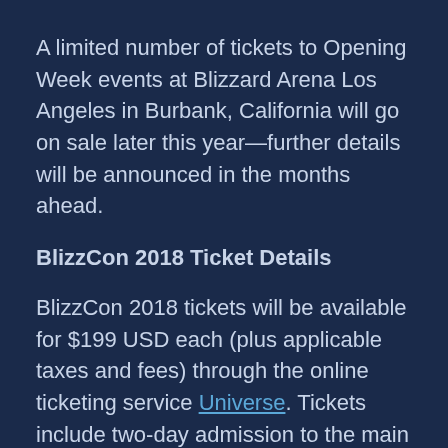A limited number of tickets to Opening Week events at Blizzard Arena Los Angeles in Burbank, California will go on sale later this year—further details will be announced in the months ahead.
BlizzCon 2018 Ticket Details
BlizzCon 2018 tickets will be available for $199 USD each (plus applicable taxes and fees) through the online ticketing service Universe. Tickets include two-day admission to the main event at the Anaheim Convention Center on November 2 and 3, and attendees will receive a commemorative BlizzCon goody bag containing a cache of loot based on their favorite Blizzard games. Visit the BlizzCon Event Info site for complete details, including important information for people interested in attending in